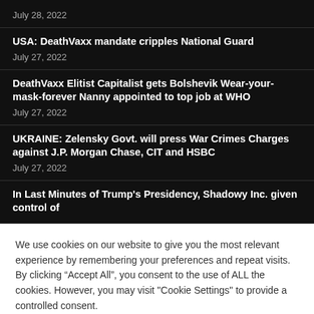July 28, 2022
USA: DeathVaxx mandate cripples National Guard
July 27, 2022
DeathVaxx Elitist Capitalist gets Bolshevik Wear-your-mask-forever Nanny appointed to top job at WHO
July 27, 2022
UKRAINE: Zelensky Govt. will press War Crimes Charges against J.P. Morgan Chase, CIT and HSBC
July 27, 2022
In Last Minutes of Trump's Presidency, Shadowy Inc. given control of
We use cookies on our website to give you the most relevant experience by remembering your preferences and repeat visits. By clicking “Accept All”, you consent to the use of ALL the cookies. However, you may visit "Cookie Settings" to provide a controlled consent.